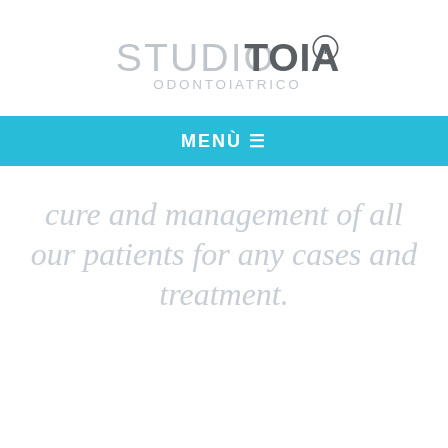[Figure (logo): Studio Toia Odontoiatrico logo — STUDIO in light grey, TOIA in dark grey bold, circled T trademark symbol, ODONTOIATRICO subtitle in light grey]
MENÙ ☰
cure and management of all our patients for any cases and treatment.